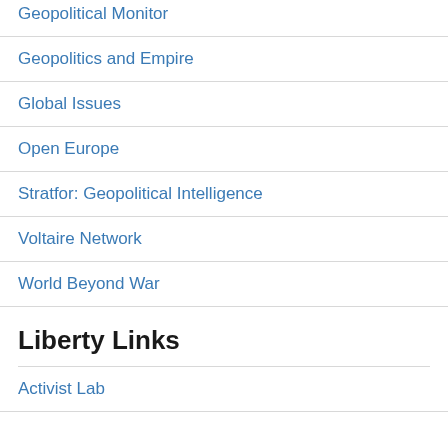Geopolitical Monitor
Geopolitics and Empire
Global Issues
Open Europe
Stratfor: Geopolitical Intelligence
Voltaire Network
World Beyond War
Liberty Links
Activist Lab